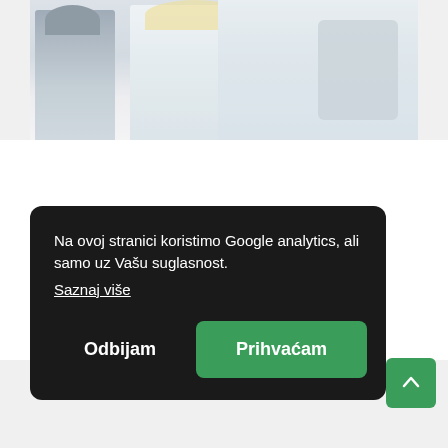[Figure (photo): Medical professionals in white coats, one holding a tablet device, viewed from mid-torso up against a bright background]
Na ovoj stranici koristimo Google analytics, ali samo uz Vašu suglasnost.
Saznaj više
Odbijam
Prihvaćam